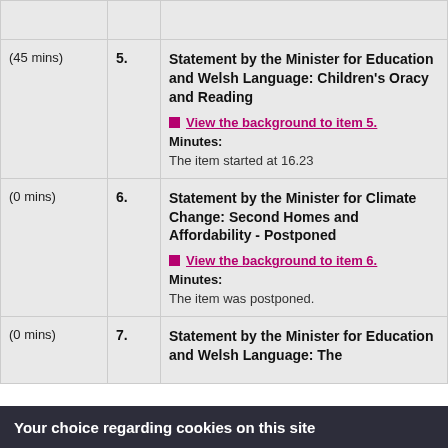| Time | No. | Item |
| --- | --- | --- |
| (45 mins) | 5. | Statement by the Minister for Education and Welsh Language: Children's Oracy and Reading
View the background to item 5.
Minutes:
The item started at 16.23 |
| (0 mins) | 6. | Statement by the Minister for Climate Change: Second Homes and Affordability - Postponed
View the background to item 6.
Minutes:
The item was postponed. |
| (0 mins) | 7. | Statement by the Minister for Education and Welsh Language: The |
Your choice regarding cookies on this site